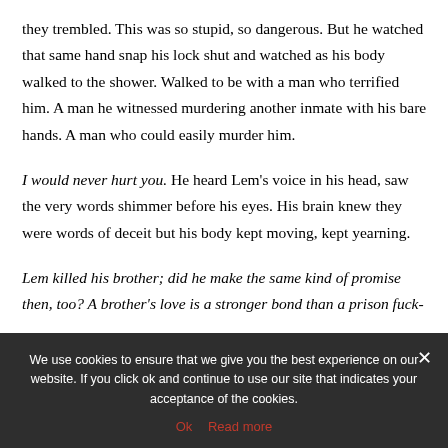spread his fingers over his locker, stared at them, and noted how they trembled. This was so stupid, so dangerous. But he watched that same hand snap his lock shut and watched as his body walked to the shower. Walked to be with a man who terrified him. A man he witnessed murdering another inmate with his bare hands. A man who could easily murder him.
I would never hurt you. He heard Lem's voice in his head, saw the very words shimmer before his eyes. His brain knew they were words of deceit but his body kept moving, kept yearning.
Lem killed his brother; did he make the same kind of promise then, too? A brother's love is a stronger bond than a prison fuck-
We use cookies to ensure that we give you the best experience on our website. If you click ok and continue to use our site that indicates your acceptance of the cookies.
Ok   Read more